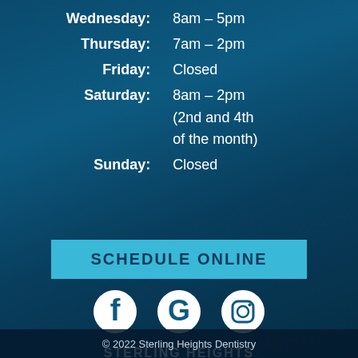Wednesday: 8am – 5pm
Thursday: 7am – 2pm
Friday: Closed
Saturday: 8am – 2pm (2nd and 4th of the month)
Sunday: Closed
SCHEDULE ONLINE
[Figure (logo): Facebook, Google, and Instagram social media icons in white circles]
STERLING HEIGHTS DENTISTRY
© 2022 Sterling Heights Dentistry